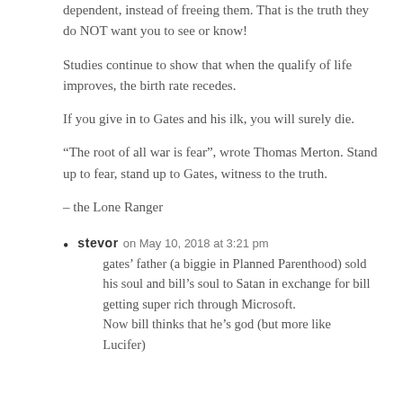dependent, instead of freeing them. That is the truth they do NOT want you to see or know!
Studies continue to show that when the qualify of life improves, the birth rate recedes.
If you give in to Gates and his ilk, you will surely die.
“The root of all war is fear”, wrote Thomas Merton. Stand up to fear, stand up to Gates, witness to the truth.
– the Lone Ranger
stevor on May 10, 2018 at 3:21 pm
gates’ father (a biggie in Planned Parenthood) sold his soul and bill’s soul to Satan in exchange for bill getting super rich through Microsoft.
Now bill thinks that he’s god (but more like Lucifer)